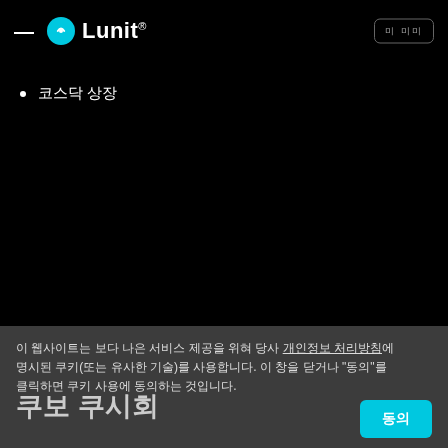Lunit
코스닥 상장
[Figure (screenshot): Black background content area of Lunit website]
이 웹사이트는 보다 나은 서비스 제공을 위혀 당사 개인정보 처리방침에 명시된 쿠키(또는 유사한 기술)를 사용합니다. 이 창을 닫거나 "동의"를 클릭하면 쿠키 사용에 동의하는 것입니다.
쿠보 쿠시회
동의